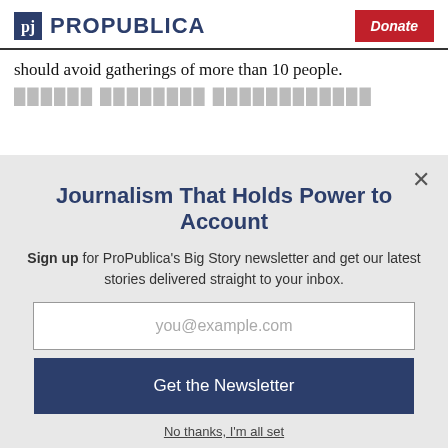ProPublica | Donate
should avoid gatherings of more than 10 people.
Journalism That Holds Power to Account
Sign up for ProPublica's Big Story newsletter and get our latest stories delivered straight to your inbox.
you@example.com
Get the Newsletter
No thanks, I'm all set
This site is protected by reCAPTCHA and the Google Privacy Policy and Terms of Service apply.